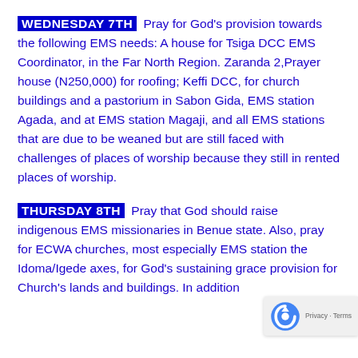WEDNESDAY 7TH Pray for God's provision towards the following EMS needs: A house for Tsiga DCC EMS Coordinator, in the Far North Region. Zaranda 2,Prayer house (N250,000) for roofing; Keffi DCC, for church buildings and a pastorium in Sabon Gida, EMS station Agada, and at EMS station Magaji, and all EMS stations that are due to be weaned but are still faced with challenges of places of worship because they still in rented places of worship.
THURSDAY 8TH Pray that God should raise indigenous EMS missionaries in Benue state. Also, pray for ECWA churches, most especially EMS station the Idoma/Igede axes, for God's sustaining grace provision for Church's lands and buildings. In addition